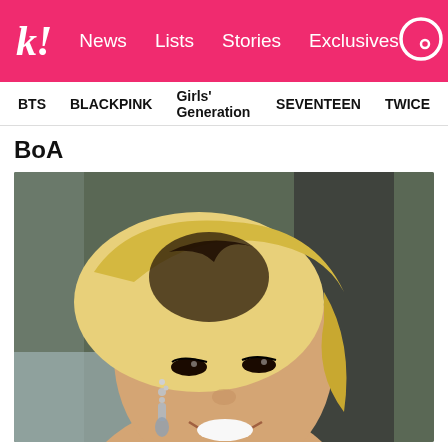k! News Lists Stories Exclusives
BTS  BLACKPINK  Girls' Generation  SEVENTEEN  TWICE
BoA
[Figure (photo): Close-up photo of BoA, a Korean pop singer, with blonde hair styled to one side, wearing dangling crystal earrings, smiling broadly. Background shows blurred figures in black.]